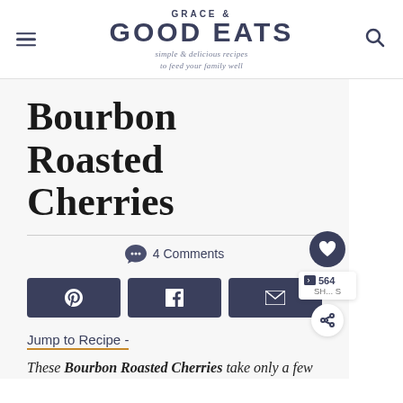GRACE & GOOD EATS — simple & delicious recipes to feed your family well
Bourbon Roasted Cherries
4 Comments
Jump to Recipe -
These Bourbon Roasted Cherries take only a few